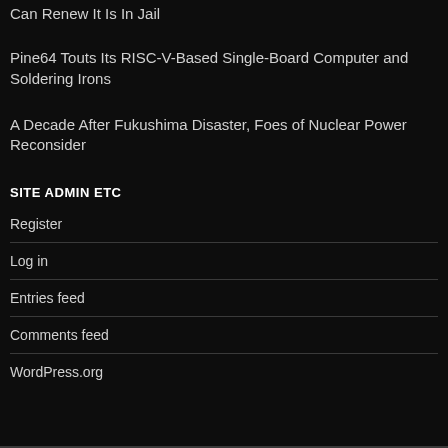Can Renew It Is In Jail
Pine64 Touts Its RISC-V-Based Single-Board Computer and Soldering Irons
A Decade After Fukushima Disaster, Foes of Nuclear Power Reconsider
SITE ADMIN ETC
Register
Log in
Entries feed
Comments feed
WordPress.org